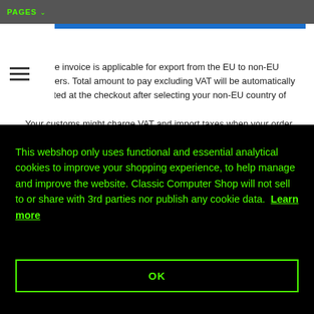PAGES
VAT free invoice is applicable for export from the EU to non-EU customers. Total amount to pay excluding VAT will be automatically calculated at the checkout after selecting your non-EU country of choice. Your customs might charge VAT and import taxes when your order arrives in your country. These are your full, own responsibility. After receipt of your order Classic Computer Shop will send you a VAT free
This webshop only uses functional and essential analytical cookies to improve your shopping experience, to help manage and improve the website. Classic Computer Shop will not sell to or share with 3rd parties nor publish any cookie data. Learn more
OK